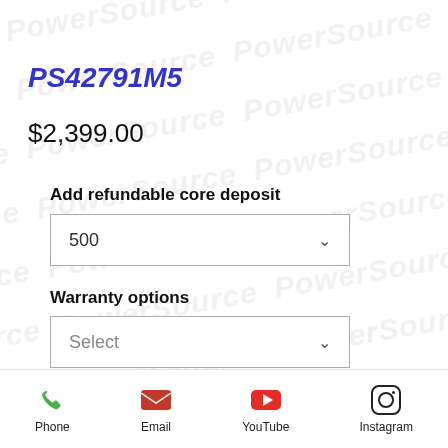PS42791M5
$2,399.00
Add refundable core deposit
500
Warranty options
Select
Quantity
1
Phone  Email  YouTube  Instagram